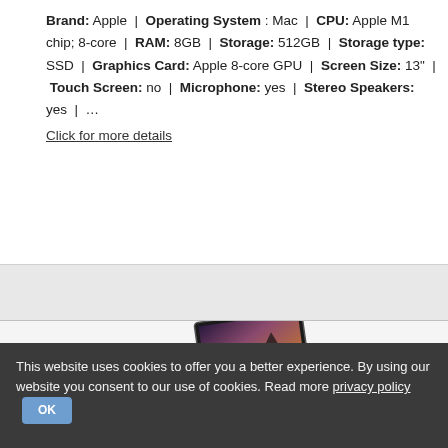Brand: Apple | Operating System: Mac | CPU: Apple M1 chip; 8-core | RAM: 8GB | Storage: 512GB | Storage type: SSD | Graphics Card: Apple 8-core GPU | Screen Size: 13" | Touch Screen: no | Microphone: yes | Stereo Speakers: yes | ...
Click for more details
[Figure (photo): Partial view of a laptop (appears to be a Microsoft Surface) with black casing, shown at an angle against a light background.]
This website uses cookies to offer you a better experience. By using our website you consent to our use of cookies. Read more privacy policy  OK